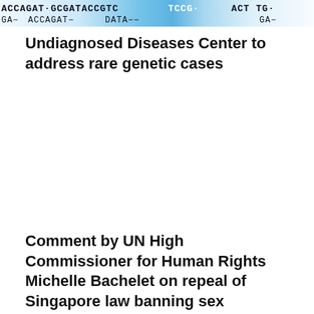[Figure (photo): DNA sequence text banner with blue tinted background showing genetic code letters such as ACCAGAT, GCGAT, CGTC, ACT, TG, GA]
Undiagnosed Diseases Center to address rare genetic cases
Comment by UN High Commissioner for Human Rights Michelle Bachelet on repeal of Singapore law banning sex between men